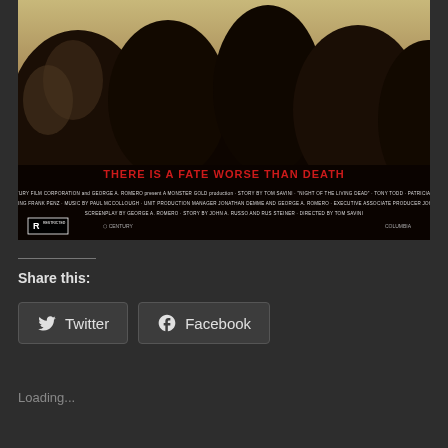[Figure (photo): Movie poster for 'Night of the Living Dead' showing dark silhouettes of figures against a dim background. Red text reads 'THERE IS A FATE WORSE THAN DEATH'. Below are film credits in small white text with an R rating logo.]
Share this:
Twitter
Facebook
Loading...